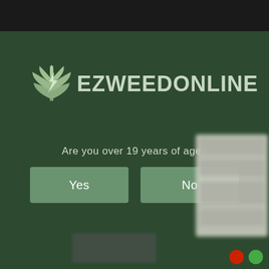[Figure (screenshot): Age verification modal for EZWeedOnline website. Dark green background with cannabis leaf logo and EZWEEDONLINE text. Question 'Are you over 19 years of age?' with Yes and No buttons. Browser chrome visible at top. Blurred dropdown panel visible at bottom right.]
EZWEEDONLINE
Are you over 19 years of age?